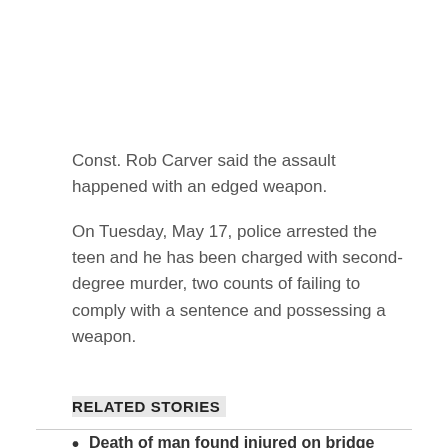Const. Rob Carver said the assault happened with an edged weapon.
On Tuesday, May 17, police arrested the teen and he has been charged with second-degree murder, two counts of failing to comply with a sentence and possessing a weapon.
RELATED STORIES
Death of man found injured on bridge being investigated as homicide